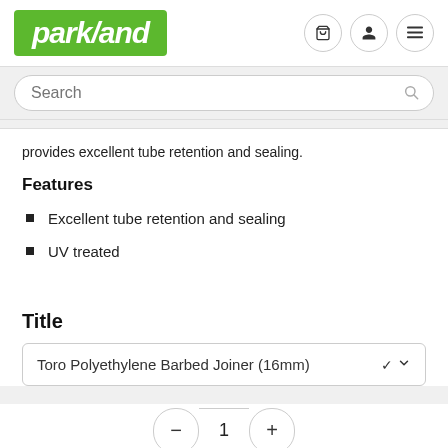[Figure (logo): Parkland logo - white italic text on green background with navigation icons (cart, user, menu)]
provides excellent tube retention and sealing.
Features
Excellent tube retention and sealing
UV treated
Title
Toro Polyethylene Barbed Joiner (16mm)
1
$0.18